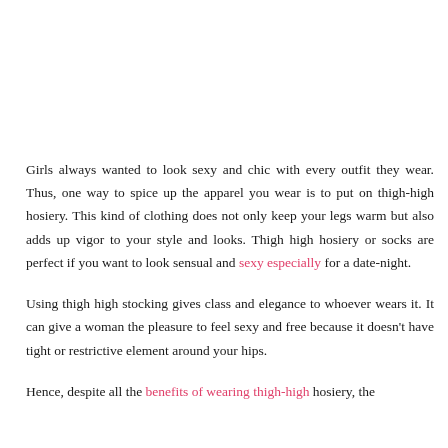Girls always wanted to look sexy and chic with every outfit they wear. Thus, one way to spice up the apparel you wear is to put on thigh-high hosiery. This kind of clothing does not only keep your legs warm but also adds up vigor to your style and looks. Thigh high hosiery or socks are perfect if you want to look sensual and sexy especially for a date-night.
Using thigh high stocking gives class and elegance to whoever wears it. It can give a woman the pleasure to feel sexy and free because it doesn't have tight or restrictive element around your hips.
Hence, despite all the benefits of wearing thigh-high hosiery, the